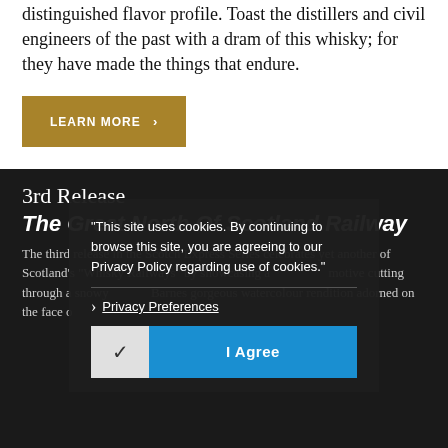distinguished flavor profile. Toast the distillers and civil engineers of the past with a dram of this whisky; for they have made the things that endure.
LEARN MORE >
3rd Release
The Great North Of Scotland Railway
"This site uses cookies. By continuing to browse this site, you are agreeing to our Privacy Policy regarding use of cookies."
› Privacy Preferences
✓  I Agree
The third release in the Scotch Express Series celebrates yet another of Scotland's "Whisky Railways" by showcasing a locomotive cutting through a snowy Barnes gorgeous watercolour rendition adorned on the face o